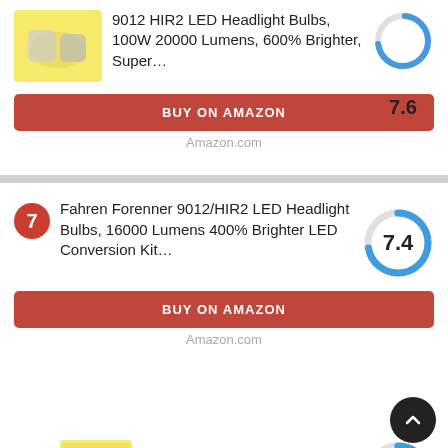[Figure (photo): Product image of 9012 HIR2 LED Headlight Bulbs]
9012 HIR2 LED Headlight Bulbs, 100W 20000 Lumens, 600% Brighter, Super…
[Figure (donut-chart): Score]
BUY ON AMAZON
Amazon.com
7
Fahren Forenner 9012/HIR2 LED Headlight Bulbs, 16000 Lumens 400% Brighter LED Conversion Kit…
[Figure (donut-chart): Score]
BUY ON AMAZON
Amazon.com
8
[Figure (photo): Product image of Philips 9012 HIR2 Standard Halogen Headlight Bulb]
Philips 9012 HIR2 Standard Halogen Headlight Bulbs…
[Figure (donut-chart): Score]